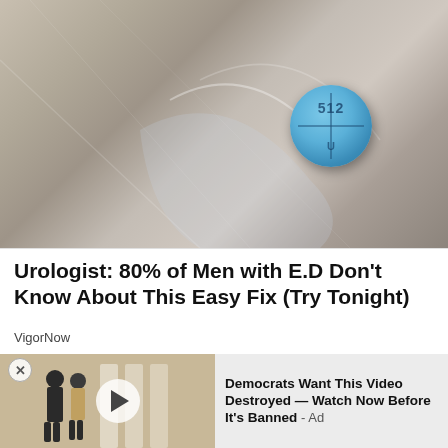[Figure (photo): Close-up photo of a small blue round pill with '512' imprinted on it, resting on a textured gray surface with transparent plastic packaging around it.]
Urologist: 80% of Men with E.D Don't Know About This Easy Fix (Try Tonight)
VigorNow
[Figure (screenshot): Advertisement showing two people walking (appears to be politicians) with a play button overlay, and text reading: 'Democrats Want This Video Destroyed — Watch Now Before It's Banned - Ad']